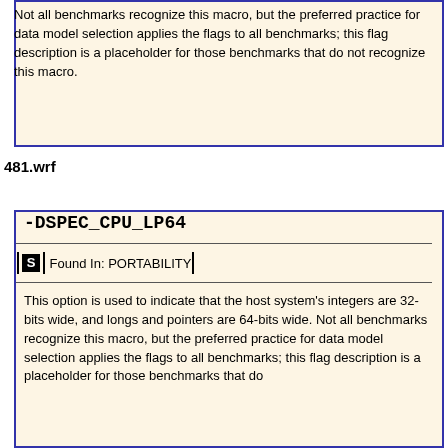Not all benchmarks recognize this macro, but the preferred practice for data model selection applies the flags to all benchmarks; this flag description is a placeholder for those benchmarks that do not recognize this macro.
481.wrf
-DSPEC_CPU_LP64
Found In: PORTABILITY
This option is used to indicate that the host system's integers are 32-bits wide, and longs and pointers are 64-bits wide. Not all benchmarks recognize this macro, but the preferred practice for data model selection applies the flags to all benchmarks; this flag description is a placeholder for those benchmarks that do